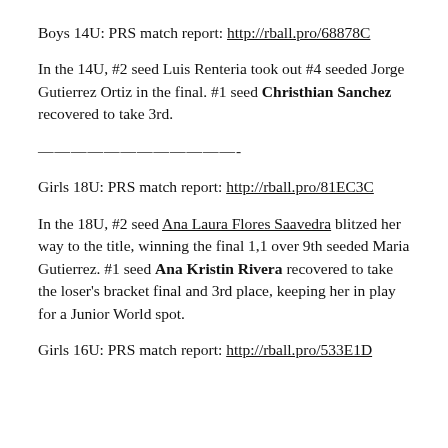Boys 14U: PRS match report: http://rball.pro/68878C
In the 14U, #2 seed Luis Renteria took out #4 seeded Jorge Gutierrez Ortiz in the final. #1 seed Christhian Sanchez recovered to take 3rd.
————————————-
Girls 18U: PRS match report: http://rball.pro/81EC3C
In the 18U, #2 seed Ana Laura Flores Saavedra blitzed her way to the title, winning the final 1,1 over 9th seeded Maria Gutierrez. #1 seed Ana Kristin Rivera recovered to take the loser's bracket final and 3rd place, keeping her in play for a Junior World spot.
Girls 16U: PRS match report: http://rball.pro/533E1D